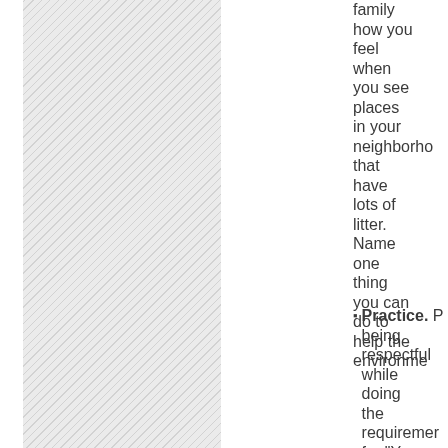[Figure (illustration): Hatched/diagonal-striped gray rectangular area occupying the left portion of the page]
family how you feel when you see places in your neighborhood that have lots of litter. Name one thing you can do to help the environment
Practice. P being respectful while doing the requirements for "Your Living World."